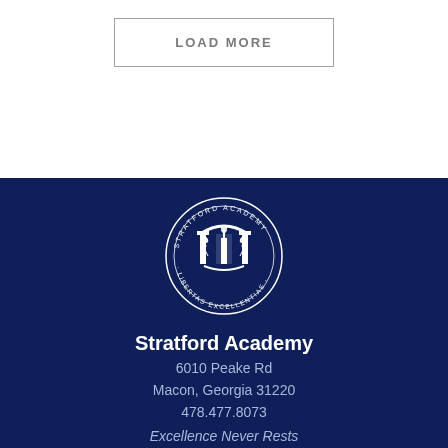LOAD MORE
[Figure (logo): Stratford Academy circular seal/logo in white on navy background, featuring a columned archway with a torch, wheat sprigs, and text reading STRATFORD ACADEMY · LIBERTAS EXCELLENTIAE]
Stratford Academy
6010 Peake Rd
Macon, Georgia 31220
478.477.8073
Excellence Never Rests